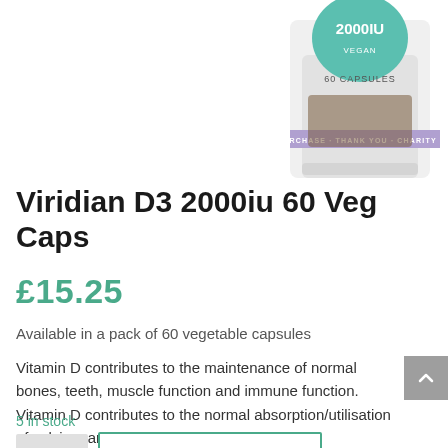[Figure (photo): A glass supplement bottle labeled 'D3 2000IU VEGAN, 60 CAPSULES' with a teal/green circular cap label and a purple band reading 'PURCHASE · THANK YOU · CHARITY DO...' — the Viridian brand supplement bottle, cropped at the top]
Viridian D3 2000iu 60 Veg Caps
£15.25
Available in a pack of 60 vegetable capsules
Vitamin D contributes to the maintenance of normal bones, teeth, muscle function and immune function. Vitamin D contributes to the normal absorption/utilisation of calcium and phosphorus.
5 in stock